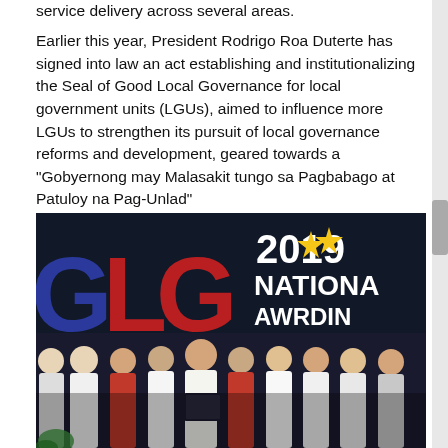service delivery across several areas.
Earlier this year, President Rodrigo Roa Duterte has signed into law an act establishing and institutionalizing the Seal of Good Local Governance for local government units (LGUs), aimed to influence more LGUs to strengthen its pursuit of local governance reforms and development, geared towards a “Gobyernong may Malasakit tungo sa Pagbabago at Patuloy na Pag-Unlad”
[Figure (photo): Group photo of government officials and staff at the 2019 National Awarding ceremony, standing in front of a dark banner with 'GLG 2019 NATIONAL AWARDING' text and yellow stars. A man in the center holds a certificate/award folder.]